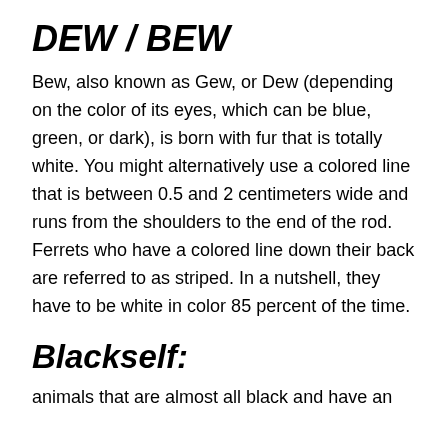DEW / BEW
Bew, also known as Gew, or Dew (depending on the color of its eyes, which can be blue, green, or dark), is born with fur that is totally white. You might alternatively use a colored line that is between 0.5 and 2 centimeters wide and runs from the shoulders to the end of the rod. Ferrets who have a colored line down their back are referred to as striped. In a nutshell, they have to be white in color 85 percent of the time.
Blackself:
animals that are almost all black and have an